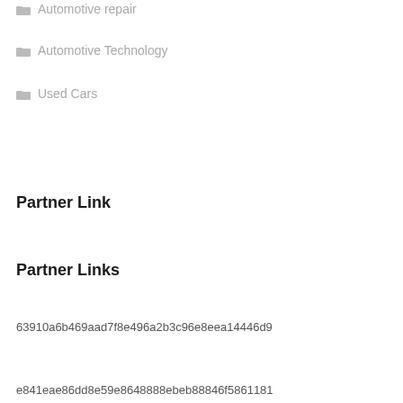Automotive Repair
Automotive Technology
Used Cars
Partner Link
Partner Links
63910a6b469aad7f8e496a2b3c96e8eea14446d9
e841eae86dd8e59e8648888ebeb88846f5861181